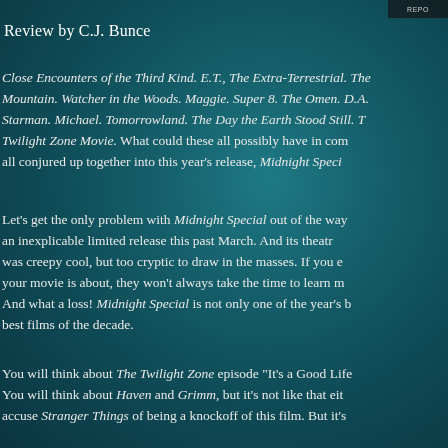REPO
Review by C.J. Bunce
Close Encounters of the Third Kind.  E.T., The Extra-Terrestrial.  The Mountain.  Watcher in the Woods.  Maggie.  Super 8.  The Omen.  D.A. Starman.  Michael.  Tomorrowland.  The Day the Earth Stood Still.  Twilight Zone Movie.  What could these all possibly have in com all conjured up together into this year's release, Midnight Speci
Let's get the only problem with Midnight Special out of the way an inexplicable limited release this past March.  And its theatr was creepy cool, but too cryptic to draw in the masses.  If you your movie is about, they won't always take the time to learn m And what a loss!  Midnight Special is not only one of the year's b best films of the decade.
You will think about The Twilight Zone episode "It's a Good Life You will think about Haven and Grimm, but it's not like that eit accuse Stranger Things of being a knockoff of this film.  But it's